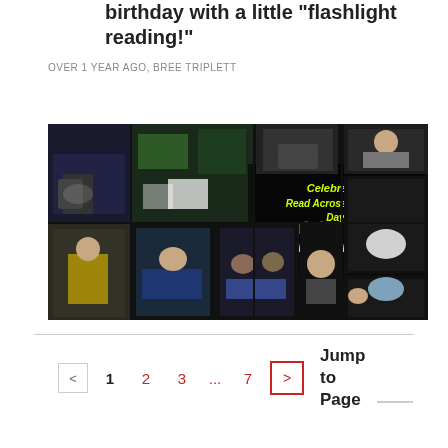birthday with a little "flashlight reading!"
OVER 1 YEAR AGO, BREE TRIPLETT
[Figure (photo): Photo collage of children doing flashlight reading, celebrating Read Across America Day. Text overlay reads: Celebrating Read Across America Day! Flashlight Reading]
< 1 2 3 ... 7 > Jump to Page